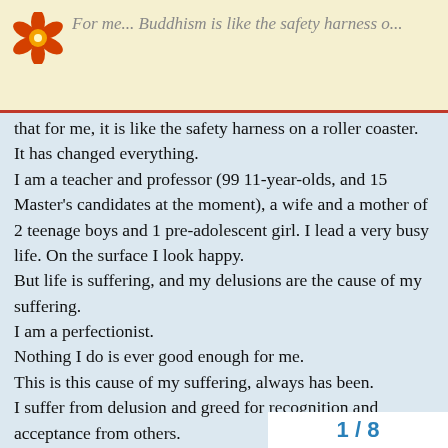For me... Buddhism is like the safety harness o...
that for me, it is like the safety harness on a roller coaster. It has changed everything.
I am a teacher and professor (99 11-year-olds, and 15 Master's candidates at the moment), a wife and a mother of 2 teenage boys and 1 pre-adolescent girl. I lead a very busy life. On the surface I look happy.
But life is suffering, and my delusions are the cause of my suffering.
I am a perfectionist.
Nothing I do is ever good enough for me.
This is this cause of my suffering, always has been.
I suffer from delusion and greed for recognition and acceptance from others.
I want everyone to like me.
I cling to the notion that people really care about the little tiny mistakes I may make during the cou
Now I know that it is possible to stop my
1 / 8